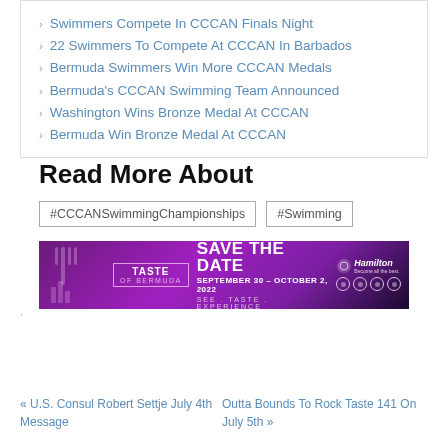Swimmers Compete In CCCAN Finals Night
22 Swimmers To Compete At CCCAN In Barbados
Bermuda Swimmers Win More CCCAN Medals
Bermuda's CCCAN Swimming Team Announced
Washington Wins Bronze Medal At CCCAN
Bermuda Win Bronze Medal At CCCAN
Read More About
#CCCANSwimmingChampionships #Swimming
[Figure (infographic): Taste of Bermuda Save The Date banner ad — purple background with fork icon, text: TASTE OF BERMUDA, SAVE THE DATE, SEPTEMBER 30 - OCTOBER 2, 2022, SEE . TASTE . EXPERIENCE, Hamilton logo with social icons]
« U.S. Consul Robert Settje July 4th Message
Outta Bounds To Rock Taste 141 On July 5th »